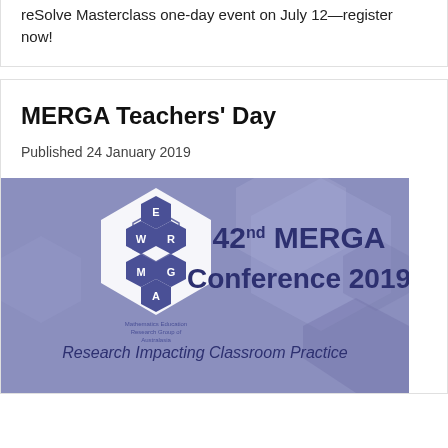reSolve Masterclass one-day event on July 12—register now!
MERGA Teachers' Day
Published 24 January 2019
[Figure (illustration): 42nd MERGA Conference 2019 banner with MERGA hexagonal logo and tagline 'Research Impacting Classroom Practice' on a purple/blue hexagonal patterned background]